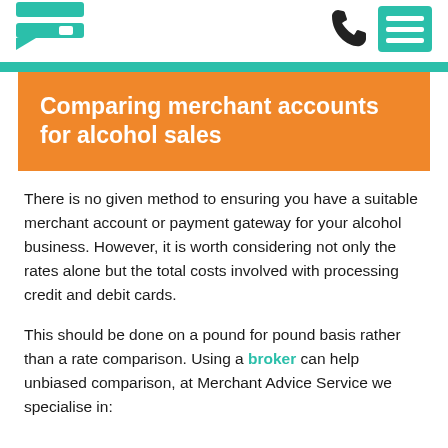[Figure (logo): Green speech bubble / merchant card logo icon in top left]
[Figure (other): Phone handset icon (dark) in top right area]
[Figure (other): Green menu hamburger box icon in top right]
Comparing merchant accounts for alcohol sales
There is no given method to ensuring you have a suitable merchant account or payment gateway for your alcohol business. However, it is worth considering not only the rates alone but the total costs involved with processing credit and debit cards.
This should be done on a pound for pound basis rather than a rate comparison. Using a broker can help unbiased comparison, at Merchant Advice Service we specialise in: